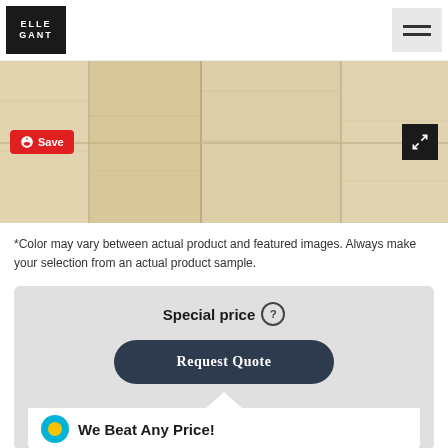[Figure (logo): ELEGANT logo in white text on black background square]
[Figure (photo): Light wood flooring planks hero image with Save button and expand button overlay]
*Color may vary between actual product and featured images. Always make your selection from an actual product sample.
Special price
Request Quote
We Beat Any Price!